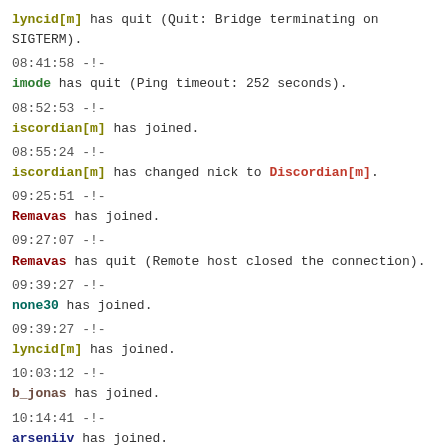lyncid[m] has quit (Quit: Bridge terminating on SIGTERM).
08:41:58 -!- imode has quit (Ping timeout: 252 seconds).
08:52:53 -!- iscordian[m] has joined.
08:55:24 -!- iscordian[m] has changed nick to Discordian[m].
09:25:51 -!- Remavas has joined.
09:27:07 -!- Remavas has quit (Remote host closed the connection).
09:39:27 -!- none30 has joined.
09:39:27 -!- lyncid[m] has joined.
10:03:12 -!- b_jonas has joined.
10:14:41 -!- arseniiv has joined.
10:45:44 -!- LKoen has joined.
10:57:55 <b_jonas> zzo38: I don't think using *some* characters that